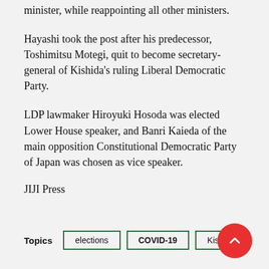minister, while reappointing all other ministers.
Hayashi took the post after his predecessor, Toshimitsu Motegi, quit to become secretary-general of Kishida's ruling Liberal Democratic Party.
LDP lawmaker Hiroyuki Hosoda was elected Lower House speaker, and Banri Kaieda of the main opposition Constitutional Democratic Party of Japan was chosen as vice speaker.
JIJI Press
Topics: elections, COVID-19, Kishida